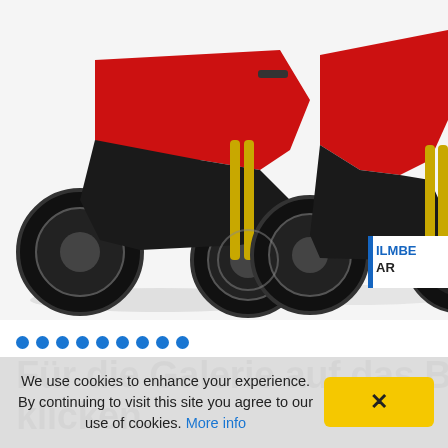[Figure (photo): Two red and black sport motorcycles on white background with ILMBERGER logo badge in bottom right corner]
[Figure (infographic): Blue dots navigation row with 9 filled blue circular dots]
Für die Galerie auf das B klicken.
[Figure (infographic): 3D GLOSS VIEW and 3D MATT VIEW buttons in blue styling]
With over 200 hp and
We use cookies to enhance your experience. By continuing to visit this site you agree to our use of cookies. More info